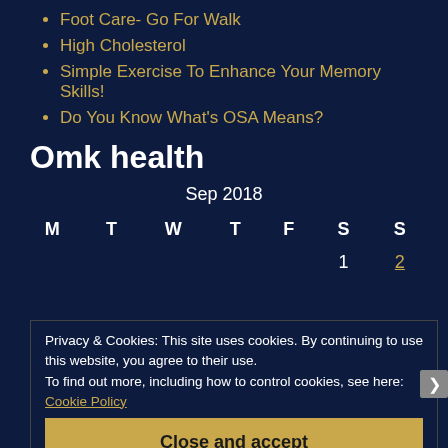Foot Care- Go For Walk
High Cholesterol
Simple Exercise To Enhance Your Memory Skills!
Do You Know What's OSA Means?
Omk health
| M | T | W | T | F | S | S |
| --- | --- | --- | --- | --- | --- | --- |
|  |  |  |  |  | 1 | 2 |
Privacy & Cookies: This site uses cookies. By continuing to use this website, you agree to their use.
To find out more, including how to control cookies, see here: Cookie Policy
Close and accept